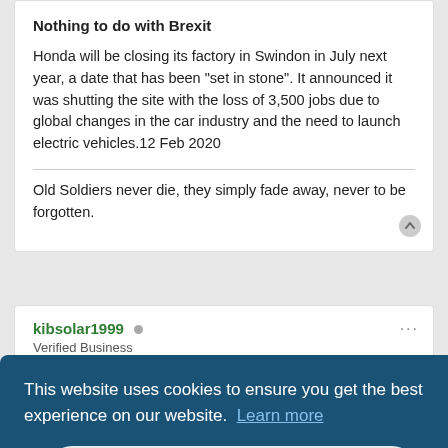Nothing to do with Brexit
Honda will be closing its factory in Swindon in July next year, a date that has been "set in stone". It announced it was shutting the site with the loss of 3,500 jobs due to global changes in the car industry and the need to launch electric vehicles.12 Feb 2020
Old Soldiers never die, they simply fade away, never to be forgotten.
kibsolar1999
Verified Business
This website uses cookies to ensure you get the best experience on our website. Learn more
Got it!